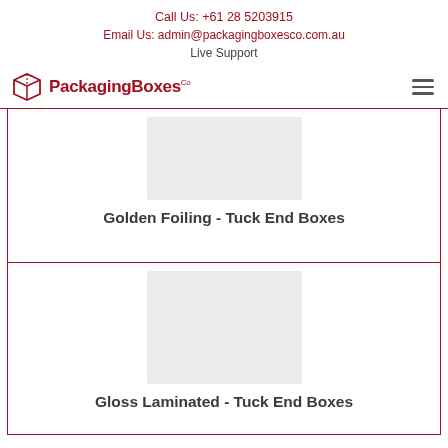Call Us: +61 28 5203915
Email Us: admin@packagingboxesco.com.au
Live Support
[Figure (logo): PackagingBoxes Co logo with box icon and red text]
[Figure (photo): Product image placeholder for Golden Foiling - Tuck End Boxes]
Golden Foiling - Tuck End Boxes
[Figure (photo): Product image placeholder for Gloss Laminated - Tuck End Boxes]
Gloss Laminated - Tuck End Boxes